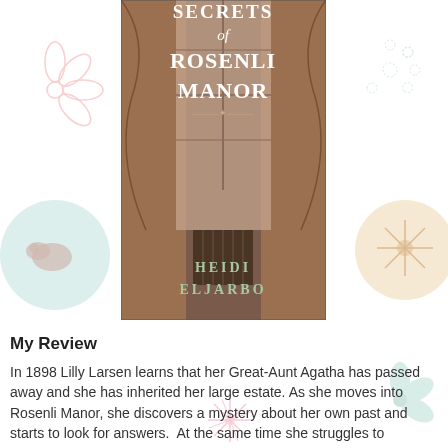[Figure (illustration): Book cover of 'Secrets of Rosenli Manor' by Heidi Eljarbo, showing a manor window with curtains and a radiator, with decorative floral and bird patterns in the background]
My Review
In 1898 Lilly Larsen learns that her Great-Aunt Agatha has passed away and she has inherited her large estate. As she moves into Rosenli Manor, she discovers a mystery about her own past and starts to look for answers.  At the same time she struggles to